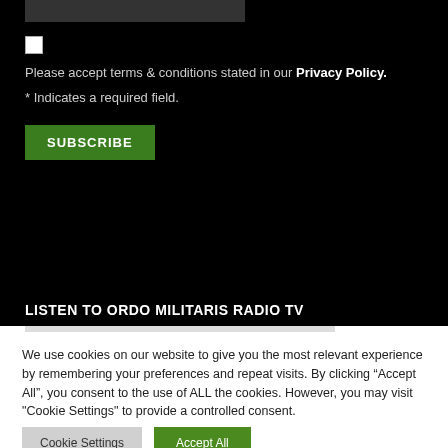Please accept terms & conditions stated in our Privacy Policy.
* Indicates a required field.
SUBSCRIBE
LISTEN TO ORDO MILITARIS RADIO TV
We use cookies on our website to give you the most relevant experience by remembering your preferences and repeat visits. By clicking "Accept All", you consent to the use of ALL the cookies. However, you may visit "Cookie Settings" to provide a controlled consent.
Cookie Settings
Accept All